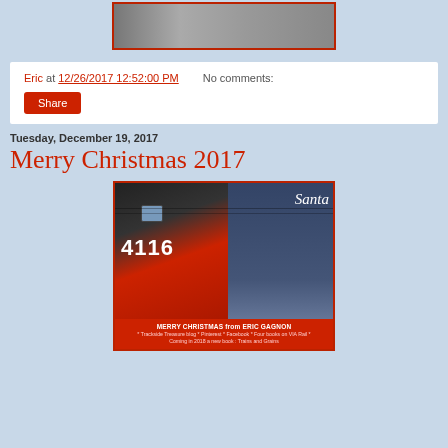[Figure (photo): Top portion of a photo partially visible at top of page, cropped]
Eric at 12/26/2017 12:52:00 PM   No comments:
Share
Tuesday, December 19, 2017
Merry Christmas 2017
[Figure (photo): Photo of a red and black locomotive numbered 4116, with a Santa Claus billboard visible in the background. Red banner at bottom reads: MERRY CHRISTMAS from ERIC GAGNON * Trackside Treasure blog * Pinterest * Facebook * Four books on VIA Rail * Coming in 2018 a new book: Trains and Grains]